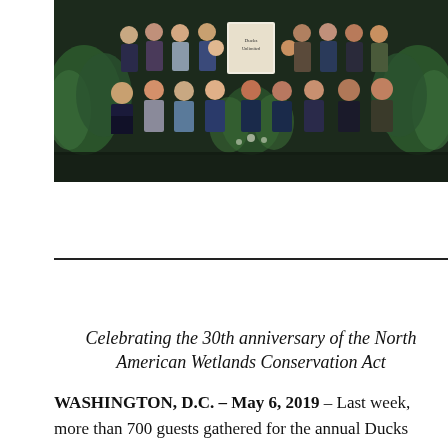[Figure (photo): Group photo of approximately 20 people seated and standing in two rows at a formal event, with green plants in the background and a Ducks Unlimited sign visible in the center]
Celebrating the 30th anniversary of the North American Wetlands Conservation Act
WASHINGTON, D.C. – May 6, 2019 – Last week, more than 700 guests gathered for the annual Ducks Unlimited Capitol Hill dinner and auction. More than 70 bipartisan members of congress were in attendance, along with many